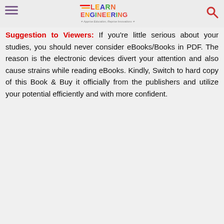Learn Engineering — Apprise Education, Reprise Innovations
Suggestion to Viewers: If you're little serious about your studies, you should never consider eBooks/Books in PDF. The reason is the electronic devices divert your attention and also cause strains while reading eBooks. Kindly, Switch to hard copy of this Book & Buy it officially from the publishers and utilize your potential efficiently and with more confident.